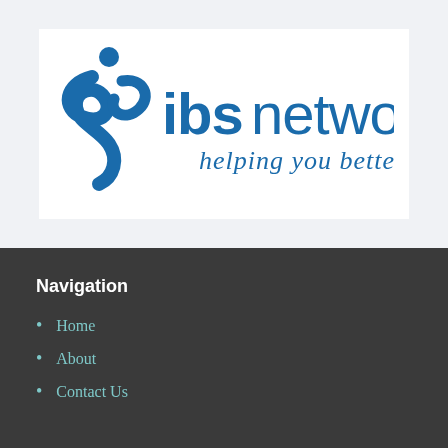[Figure (logo): IBS Network logo with abstract blue figure icon and text 'ibsnetwork' with tagline 'helping you better...' in blue on white background]
Navigation
Home
About
Contact Us